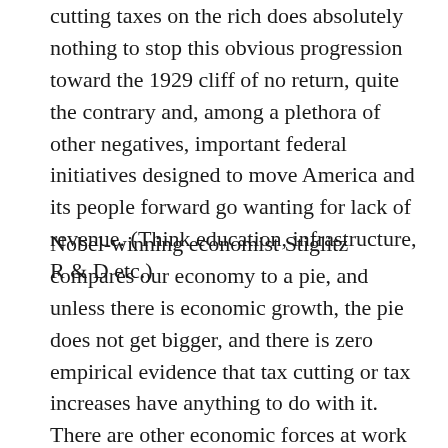cutting taxes on the rich does absolutely nothing to stop this obvious progression toward the 1929 cliff of no return, quite the contrary and, among a plethora of other negatives, important federal initiatives designed to move America and its people forward go wanting for lack of revenue. (Think education, infrastructure, R & D etc.)
Nobel-winning economist Stiglitz compares our economy to a pie, and unless there is economic growth, the pie does not get bigger, and there is zero empirical evidence that tax cutting or tax increases have anything to do with it. There are other economic forces at work which create prosperity or depression other than political jockeying of the tax rate for favored sectors up or down. When one